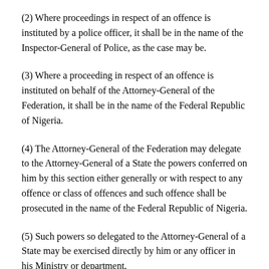(2) Where proceedings in respect of an offence is instituted by a police officer, it shall be in the name of the Inspector-General of Police, as the case may be.
(3) Where a proceeding in respect of an offence is instituted on behalf of the Attorney-General of the Federation, it shall be in the name of the Federal Republic of Nigeria.
(4) The Attorney-General of the Federation may delegate to the Attorney-General of a State the powers conferred on him by this section either generally or with respect to any offence or class of offences and such offence shall be prosecuted in the name of the Federal Republic of Nigeria.
(5) Such powers so delegated to the Attorney-General of a State may be exercised directly by him or any officer in his Ministry or department.